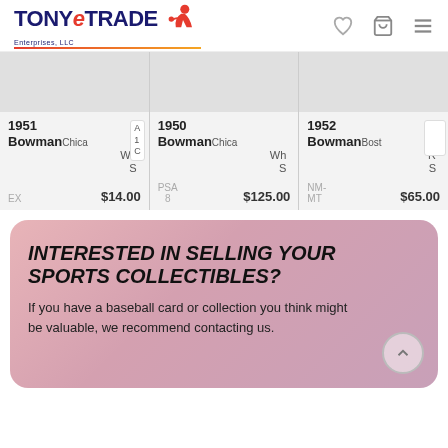[Figure (logo): TONYeTRADE Enterprises LLC logo with baseball player icon]
[Figure (screenshot): Three baseball card product listings: 1951 Bowman Chicago White Sox EX $14.00, 1950 Bowman Chicago White Sox PSA 8 $125.00, 1952 Bowman Boston Red Sox NM-MT $65.00]
INTERESTED IN SELLING YOUR SPORTS COLLECTIBLES?
If you have a baseball card or collection you think might be valuable, we recommend contacting us.